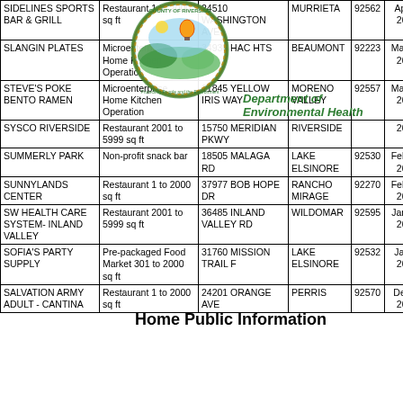| Name | Type | Address | City | ZIP | Date |
| --- | --- | --- | --- | --- | --- |
| SIDELINES SPORTS BAR & GRILL | Restaurant 1 to 2000 sq ft | 24510 WASHINGTON AVE | MURRIETA | 92562 | Apr 6, 2021 |
| SLANGIN PLATES | Microenterprise Home Kitchen Operation | 34936 HAC HTS | BEAUMONT | 92223 | Mar 18, 2021 |
| STEVE'S POKE BENTO RAMEN | Microenterprise Home Kitchen Operation | 11845 YELLOW IRIS WAY | MORENO VALLEY | 92557 | Mar 16, 2021 |
| SYSCO RIVERSIDE | Restaurant 2001 to 5999 sq ft | 15750 MERIDIAN PKWY | RIVERSIDE |  | Mar, 2021 |
| SUMMERLY PARK | Non-profit snack bar | 18505 MALAGA RD | LAKE ELSINORE | 92530 | Feb 19, 2021 |
| SUNNYLANDS CENTER | Restaurant 1 to 2000 sq ft | 37977 BOB HOPE DR | RANCHO MIRAGE | 92270 | Feb 18, 2021 |
| SW HEALTH CARE SYSTEM- INLAND VALLEY | Restaurant 2001 to 5999 sq ft | 36485 INLAND VALLEY RD | WILDOMAR | 92595 | Jan 20, 2021 |
| SOFIA'S PARTY SUPPLY | Pre-packaged Food Market 301 to 2000 sq ft | 31760 MISSION TRAIL F | LAKE ELSINORE | 92532 | Jan 8, 2021 |
| SALVATION ARMY ADULT - CANTINA | Restaurant 1 to 2000 sq ft | 24201 ORANGE AVE | PERRIS | 92570 | Dec 3, 2020 |
[Figure (logo): Riverside County Department of Environmental Health circular seal/logo with green and gold design]